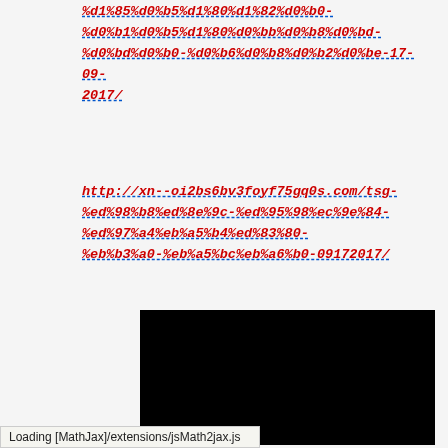%d1%85%d0%b5%d1%80%d1%82%d0%b0-%d0%b1%d0%b5%d1%80%d0%bb%d0%b8%d0%bd-%d0%bd%d0%b0-%d0%b6%d0%b8%d0%b2%d0%be-17-09-2017/
http://xn--oi2bs6bv3foyf75gq0s.com/tsg-%ed%98%b8%ed%8e%9c-%ed%95%98%ec%9e%84-%ed%97%a4%eb%a5%b4%ed%83%80-%eb%b3%a0-%eb%a5%bc%eb%a6%b0-09172017/
[Figure (screenshot): Black screenshot/video frame area]
Loading [MathJax]/extensions/jsMath2jax.js